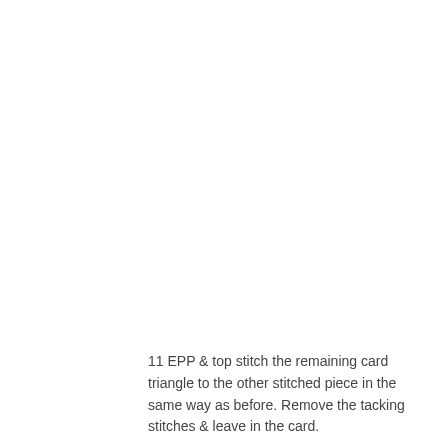11 EPP & top stitch the remaining card triangle to the other stitched piece in the same way as before. Remove the tacking stitches & leave in the card.